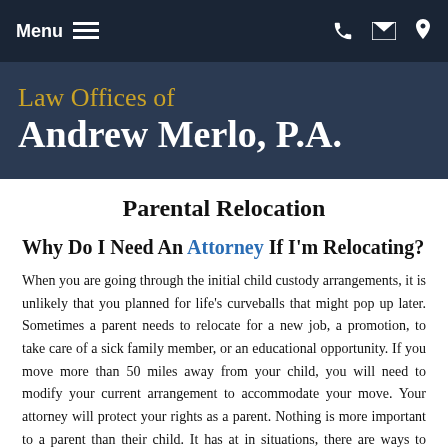Menu
Law Offices of Andrew Merlo, P.A.
Parental Relocation
Why Do I Need An Attorney If I'm Relocating?
When you are going through the initial child custody arrangements, it is unlikely that you planned for life's curveballs that might pop up later. Sometimes a parent needs to relocate for a new job, a promotion, to take care of a sick family member, or an educational opportunity. If you move more than 50 miles away from your child, you will need to modify your current arrangement to accommodate your move. Your attorney will protect your rights as a parent. Nothing is more important to a parent than their child. In some situations, there are ways to avoid a long, expensive, or...